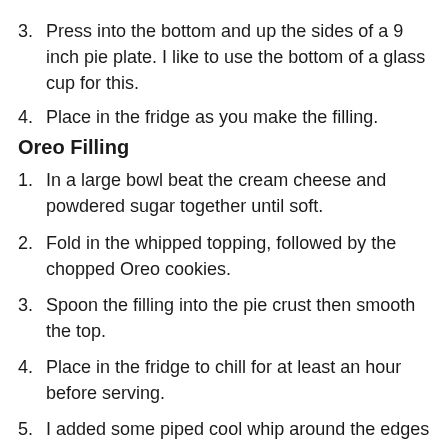3. Press into the bottom and up the sides of a 9 inch pie plate. I like to use the bottom of a glass cup for this.
4. Place in the fridge as you make the filling.
Oreo Filling
1. In a large bowl beat the cream cheese and powdered sugar together until soft.
2. Fold in the whipped topping, followed by the chopped Oreo cookies.
3. Spoon the filling into the pie crust then smooth the top.
4. Place in the fridge to chill for at least an hour before serving.
5. I added some piped cool whip around the edges and in the center. (optional) and sprinkled some crushed Oreos over the cool whip.